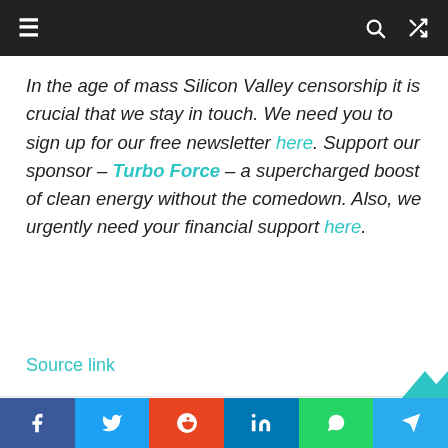Navigation bar with menu, search, and shuffle icons
In the age of mass Silicon Valley censorship it is crucial that we stay in touch. We need you to sign up for our free newsletter here. Support our sponsor – Turbo Force – a supercharged boost of clean energy without the comedown. Also, we urgently need your financial support here.
Source link
Social share bar: Facebook, Twitter, Reddit, LinkedIn, WhatsApp, Telegram